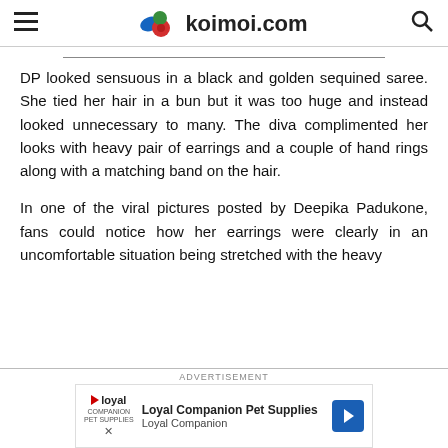koimoi.com
DP looked sensuous in a black and golden sequined saree. She tied her hair in a bun but it was too huge and instead looked unnecessary to many. The diva complimented her looks with heavy pair of earrings and a couple of hand rings along with a matching band on the hair.
In one of the viral pictures posted by Deepika Padukone, fans could notice how her earrings were clearly in an uncomfortable situation being stretched with the heavy
[Figure (other): Advertisement banner for Loyal Companion Pet Supplies with logo, text, and arrow button]